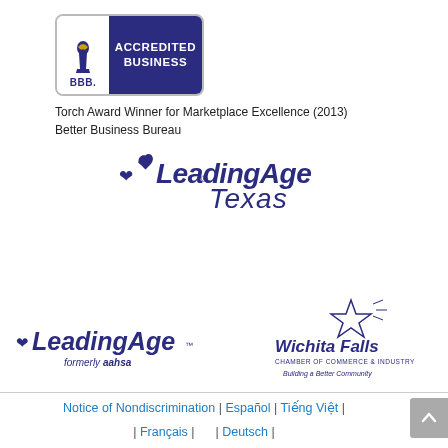[Figure (logo): BBB Accredited Business logo — torch icon on white left panel, 'ACCREDITED BUSINESS' text on dark navy right panel, 'BBB.' text below torch]
Torch Award Winner for Marketplace Excellence (2013)
Better Business Bureau
[Figure (logo): LeadingAge Texas logo — stylized heart/flame above 'LeadingAge' text with registered mark, 'Texas' in italic below, all in dark navy]
[Figure (logo): LeadingAge logo (formerly aahsa) — stylized heart above 'LeadingAge' text with trademark, 'formerly aahsa' in italic below, dark navy]
[Figure (logo): Wichita Falls Chamber of Commerce & Industry logo — Texas star with 'Wichita Falls' stylized text and 'Building a Better Community' tagline, dark navy]
Notice of Nondiscrimination | Español | Tiếng Việt | | Français | | Deutsch | | Igbo asusu | èdè Yorùbá | ردو | العربية | русский | | Srpsko-hrvatski | Tagalog | 한국어